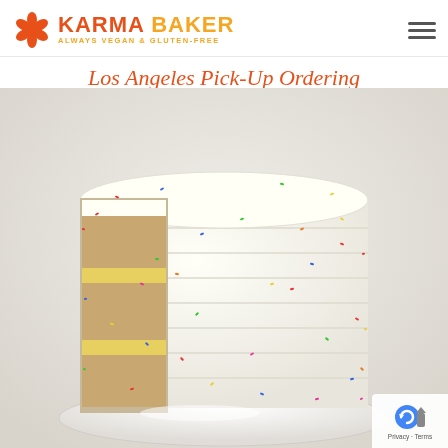KARMA BAKER — ALWAYS VEGAN & GLUTEN-FREE
Los Angeles Pick-Up Ordering
[Figure (photo): A multi-layer vanilla cake with white frosting covered in colorful sprinkles, sliced open to reveal yellow lemon curd filling between layers of golden sponge cake, displayed on a white plate against a light gray background.]
Privacy · Terms